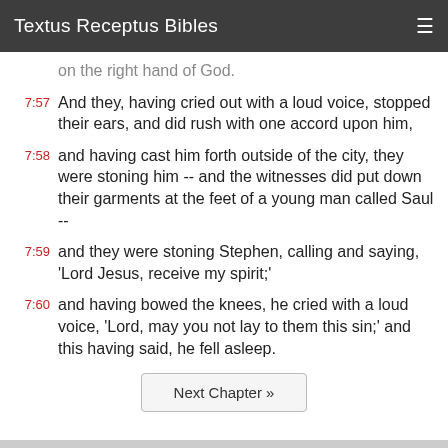Textus Receptus Bibles
on the right hand of God.
7:57 And they, having cried out with a loud voice, stopped their ears, and did rush with one accord upon him,
7:58 and having cast him forth outside of the city, they were stoning him -- and the witnesses did put down their garments at the feet of a young man called Saul --
7:59 and they were stoning Stephen, calling and saying, 'Lord Jesus, receive my spirit;'
7:60 and having bowed the knees, he cried with a loud voice, 'Lord, may you not lay to them this sin;' and this having said, he fell asleep.
Next Chapter »